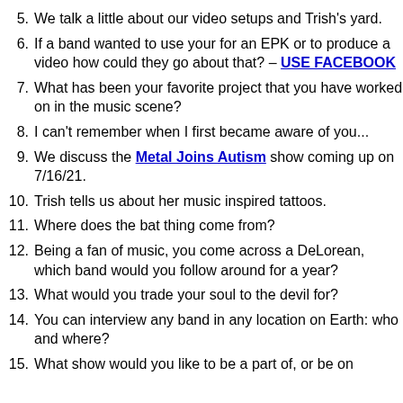5. We talk a little about our video setups and Trish's yard.
6. If a band wanted to use your for an EPK or to produce a video how could they go about that? – USE FACEBOOK
7. What has been your favorite project that you have worked on in the music scene?
8. I can't remember when I first became aware of you...
9. We discuss the Metal Joins Autism show coming up on 7/16/21.
10. Trish tells us about her music inspired tattoos.
11. Where does the bat thing come from?
12. Being a fan of music, you come across a DeLorean, which band would you follow around for a year?
13. What would you trade your soul to the devil for?
14. You can interview any band in any location on Earth: who and where?
15. What show would you like to be a part of, or be on...